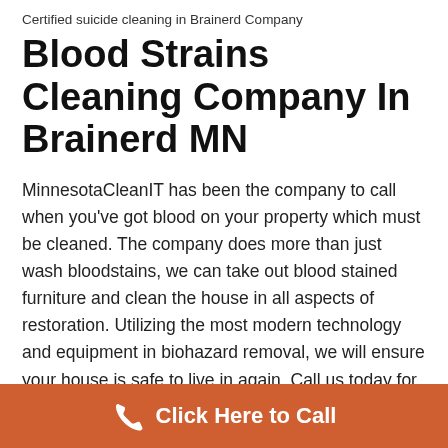Certified suicide cleaning in Brainerd Company
Blood Strains Cleaning Company In Brainerd MN
MinnesotaCleanIT has been the company to call when you've got blood on your property which must be cleaned. The company does more than just wash bloodstains, we can take out blood stained furniture and clean the house in all aspects of restoration. Utilizing the most modern technology and equipment in biohazard removal, we will ensure your house is safe to live in again. Call us today for blood cleanup at your home in Brainerd Minnesota and speak to one of our trained and licensed hazmat professionals.
Click Here to Call